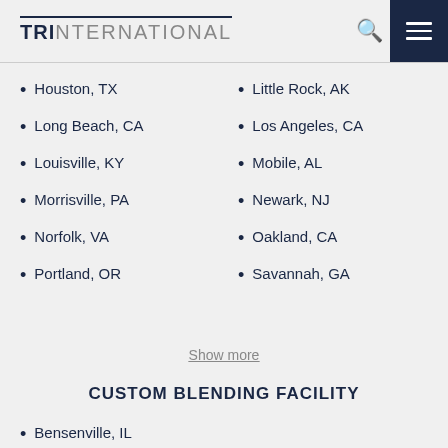TRINTERNATIONAL
Houston, TX
Little Rock, AK
Long Beach, CA
Los Angeles, CA
Louisville, KY
Mobile, AL
Morrisville, PA
Newark, NJ
Norfolk, VA
Oakland, CA
Portland, OR
Savannah, GA
Show more
CUSTOM BLENDING FACILITY
Bensenville, IL